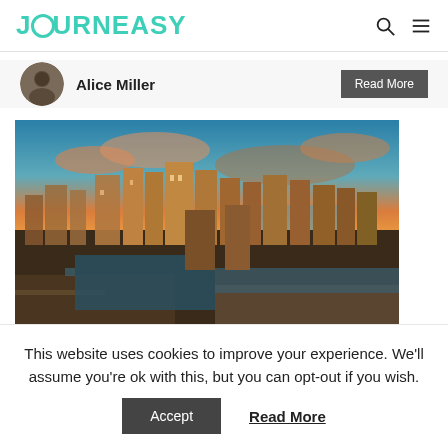JOURNEASY
Alice Miller
[Figure (photo): Aerial view of a city skyline at sunset/dusk with orange-tinted sky, tall skyscrapers, a river running through the city, and waterfront docks in the foreground.]
This website uses cookies to improve your experience. We'll assume you're ok with this, but you can opt-out if you wish.
Accept    Read More